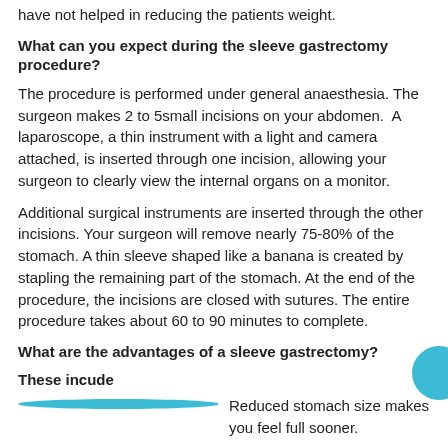have not helped in reducing the patients weight.
What can you expect during the sleeve gastrectomy procedure?
The procedure is performed under general anaesthesia. The surgeon makes 2 to 5small incisions on your abdomen.  A laparoscope, a thin instrument with a light and camera attached, is inserted through one incision, allowing your surgeon to clearly view the internal organs on a monitor.
Additional surgical instruments are inserted through the other incisions. Your surgeon will remove nearly 75-80% of the stomach. A thin sleeve shaped like a banana is created by stapling the remaining part of the stomach. At the end of the procedure, the incisions are closed with sutures. The entire procedure takes about 60 to 90 minutes to complete.
What are the advantages of a sleeve gastrectomy?
These incude
Reduced stomach size makes you feel full sooner.
Normal functions of the stomach are retained.
Simpler than other bariatric surgeries.